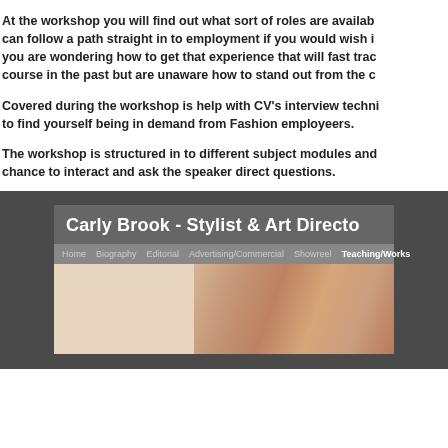At the workshop you will find out what sort of roles are available, can follow a path straight in to employment if you would wish it, you are wondering how to get that experience that will fast track course in the past but are unaware how to stand out from the c
Covered during the workshop is help with CV's interview techn to find yourself being in demand from Fashion employeers.
The workshop is structured in to different subject modules and chance to interact and ask the speaker direct questions.
[Figure (screenshot): Screenshot of website for Carly Brook - Stylist & Art Director, showing navigation bar with Home, Biography, Editorial, Advertising/Commercial, Showreel, Teaching/Works tabs, and a partial image of hair/styling work]